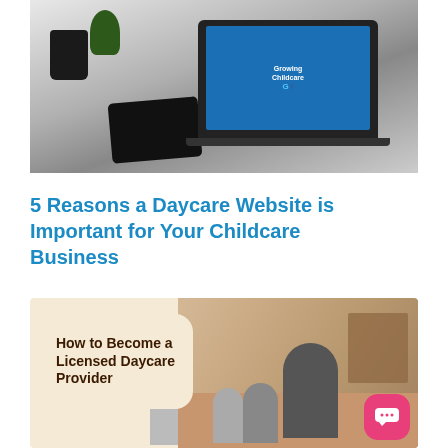[Figure (photo): Laptop on a desk with a coffee mug, plant, and tablet. The laptop screen shows a childcare-related website with Google and Facebook icons.]
5 Reasons a Daycare Website is Important for Your Childcare Business
[Figure (photo): Promotional image with text 'How to Become a Licensed Daycare Provider' in a speech bubble on the left, and a photo of a teacher sitting on the floor with several young children in a daycare/classroom setting on the right. A pink chat button appears in the bottom right corner.]